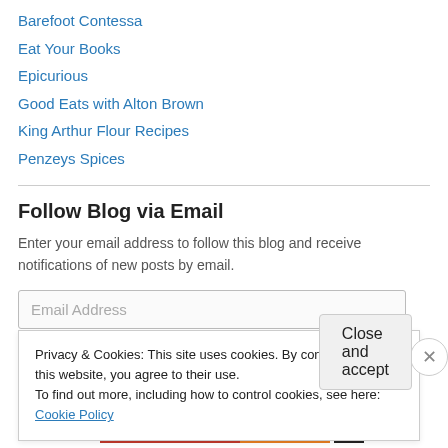Barefoot Contessa
Eat Your Books
Epicurious
Good Eats with Alton Brown
King Arthur Flour Recipes
Penzeys Spices
Follow Blog via Email
Enter your email address to follow this blog and receive notifications of new posts by email.
Email Address
Privacy & Cookies: This site uses cookies. By continuing to use this website, you agree to their use.
To find out more, including how to control cookies, see here: Cookie Policy
Close and accept